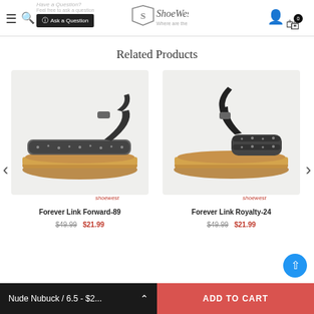ShoeWest header with hamburger menu, search, logo, account and cart icons
Have a Question? Feel free to ask a question. Ask a Question
Related Products
[Figure (photo): Black platform sandal with rhinestone strap - Forever Link Forward-89. Shows shoewest watermark.]
shoewest
Forever Link Forward-89
$49.99  $21.99
[Figure (photo): Black ankle strap sandal with rhinestone toe strap - Forever Link Royalty-24. Shows shoewest watermark.]
shoewest
Forever Link Royalty-24
$49.99  $21.99
Nude Nubuck / 6.5 - $2...   ADD TO CART